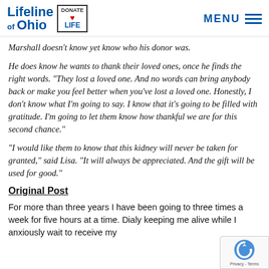Lifeline of Ohio | DONATE LIFE | MENU
Marshall doesn't know yet know who his donor was.
He does know he wants to thank their loved ones, once he finds the right words. "They lost a loved one. And no words can bring anybody back or make you feel better when you've lost a loved one. Honestly, I don't know what I'm going to say. I know that it's going to be filled with gratitude. I'm going to let them know how thankful we are for this second chance."
"I would like them to know that this kidney will never be taken for granted," said Lisa. "It will always be appreciated. And the gift will be used for good."
Original Post
For more than three years I have been going to three times a week for five hours at a time. Dialy keeping me alive while I anxiously wait to receive my